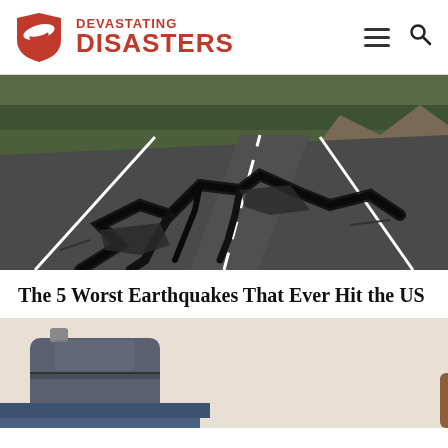[Figure (logo): Devastating Disasters logo with red tornado/shield icon and bold red text reading DEVASTATING DISASTERS, with hamburger menu and search icons on the right]
[Figure (photo): Aerial/road-level view of a cracked and severely damaged asphalt road after an earthquake, with dark fissures splitting the pavement, trees and rocky terrain visible in the background]
The 5 Worst Earthquakes That Ever Hit the US
[Figure (photo): Partial view of a person holding a brown leather wallet and a smartphone near luggage suitcases, suggesting travel preparation]